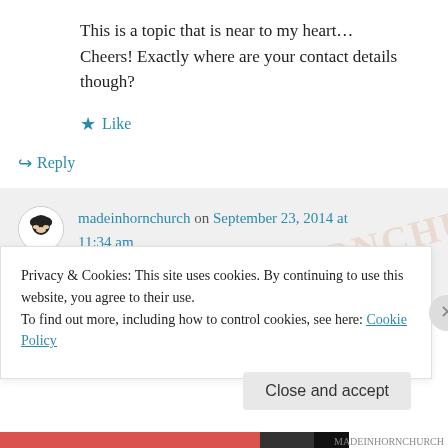This is a topic that is near to my heart… Cheers! Exactly where are your contact details though?
★ Like
↪ Reply
madeinhornchurch on September 23, 2014 at 11:34 am
Glad to hear I can help. You can contact
Privacy & Cookies: This site uses cookies. By continuing to use this website, you agree to their use.
To find out more, including how to control cookies, see here: Cookie Policy
Close and accept